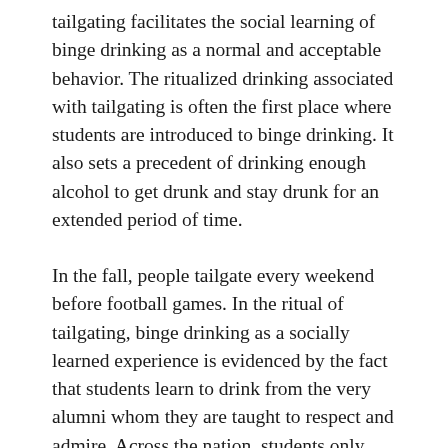tailgating facilitates the social learning of binge drinking as a normal and acceptable behavior. The ritualized drinking associated with tailgating is often the first place where students are introduced to binge drinking. It also sets a precedent of drinking enough alcohol to get drunk and stay drunk for an extended period of time.
In the fall, people tailgate every weekend before football games. In the ritual of tailgating, binge drinking as a socially learned experience is evidenced by the fact that students learn to drink from the very alumni whom they are taught to respect and admire. Across the nation, students only need to leave their dorms to encounter the alumni who have been drinking since early morning. Since this is often a student's first exposure to binge drinking, students may initially